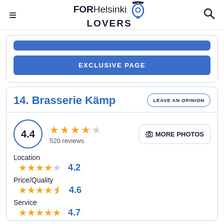FOR Helsinki LOVERS
[Figure (screenshot): Partially visible blue button at top of card]
EXCLUSIVE PAGE
14. Brasserie Kämp
LEAVE AN OPINION
4.4  520 reviews  MORE PHOTOS
Location
★★★★☆ 4.2
Price/Quality
★★★★½ 4.6
Service
★★★★★ 4.7